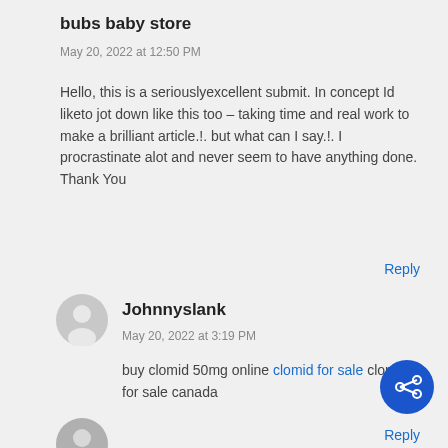bubs baby store
May 20, 2022 at 12:50 PM
Hello, this is a seriouslyexcellent submit. In concept Id liketo jot down like this too – taking time and real work to make a brilliant article.!. but what can I say.!. I procrastinate alot and never seem to have anything done. Thank You
Reply
[Figure (illustration): Default user avatar circle with person silhouette]
Johnnyslank
May 20, 2022 at 3:19 PM
buy clomid 50mg online clomid for sale clomid for sale canada
[Figure (illustration): Share button - blue circle with share icon]
[Figure (illustration): Default user avatar circle with person silhouette (second comment)]
Reply